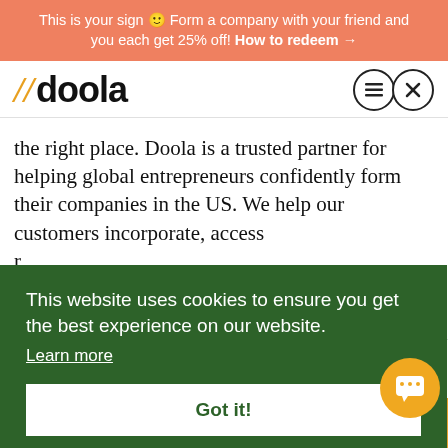This is your sign 🙂 Form a company with your friend and you each get 25% off! How to redeem →
[Figure (logo): doola logo with orange double-slash and bold black 'doola' wordmark]
the right place. Doola is a trusted partner for helping global entrepreneurs confidently form their companies in the US. We help our customers incorporate, access
This website uses cookies to ensure you get the best experience on our website. Learn more Got it!
Twitter Facebook LinkedIn Y Combinator Share